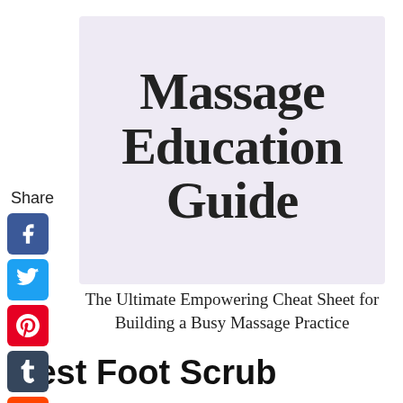[Figure (logo): Massage Education Guide banner with lavender/purple background and handwritten-style text reading 'Massage Education Guide']
The Ultimate Empowering Cheat Sheet for Building a Busy Massage Practice
Share
[Figure (infographic): Social media share buttons: Facebook (blue), Twitter (light blue), Pinterest (red), Tumblr (dark blue), Reddit (orange), WhatsApp (green), and a back arrow]
Best Foot Scrub